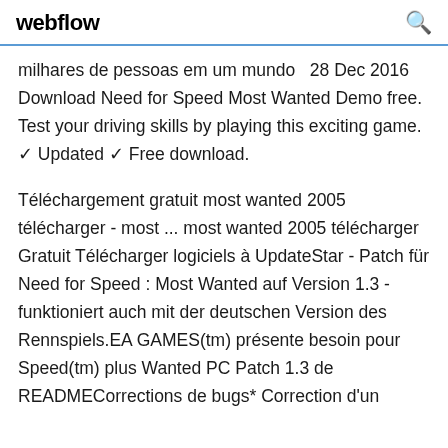webflow
milhares de pessoas em um mundo  28 Dec 2016 Download Need for Speed Most Wanted Demo free. Test your driving skills by playing this exciting game. ✓ Updated ✓ Free download.
Téléchargement gratuit most wanted 2005 télécharger - most ... most wanted 2005 télécharger Gratuit Télécharger logiciels à UpdateStar - Patch für Need for Speed : Most Wanted auf Version 1.3 - funktioniert auch mit der deutschen Version des Rennspiels.EA GAMES(tm) présente besoin pour Speed(tm) plus Wanted PC Patch 1.3 de READMECorrections de bugs* Correction d'un